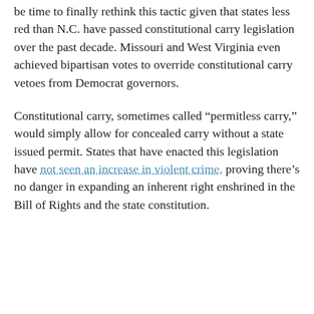be time to finally rethink this tactic given that states less red than N.C. have passed constitutional carry legislation over the past decade. Missouri and West Virginia even achieved bipartisan votes to override constitutional carry vetoes from Democrat governors.
Constitutional carry, sometimes called “permitless carry,” would simply allow for concealed carry without a state issued permit. States that have enacted this legislation have not seen an increase in violent crime, proving there’s no danger in expanding an inherent right enshrined in the Bill of Rights and the state constitution.